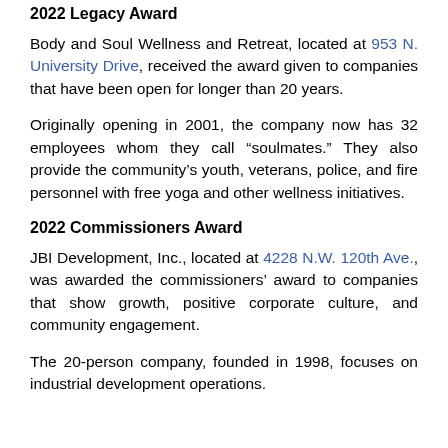2022 Legacy Award
Body and Soul Wellness and Retreat, located at 953 N. University Drive, received the award given to companies that have been open for longer than 20 years.
Originally opening in 2001, the company now has 32 employees whom they call “soulmates.” They also provide the community’s youth, veterans, police, and fire personnel with free yoga and other wellness initiatives.
2022 Commissioners Award
JBI Development, Inc., located at 4228 N.W. 120th Ave., was awarded the commissioners’ award to companies that show growth, positive corporate culture, and community engagement.
The 20-person company, founded in 1998, focuses on industrial development operations.